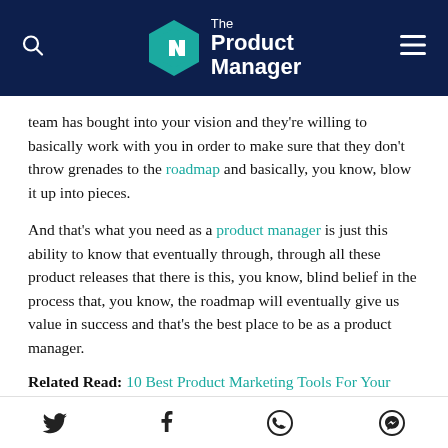The Product Manager
team has bought into your vision and they're willing to basically work with you in order to make sure that they don't throw grenades to the roadmap and basically, you know, blow it up into pieces.
And that's what you need as a product manager is just this ability to know that eventually through, through all these product releases that there is this, you know, blind belief in the process that, you know, the roadmap will eventually give us value in success and that's the best place to be as a product manager.
Related Read: 10 Best Product Marketing Tools For Your
Social share icons: Twitter, Facebook, WhatsApp, Messenger